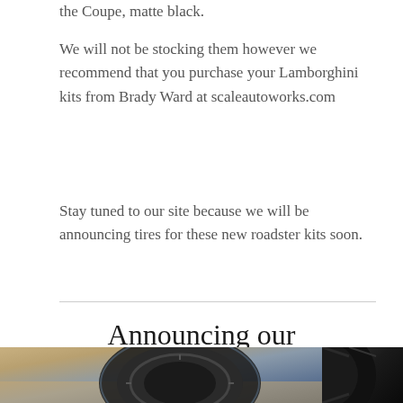the Coupe, matte black.
We will not be stocking them however we recommend that you purchase your Lamborghini kits from Brady Ward at scaleautoworks.com
Stay tuned to our site because we will be announcing tires for these new roadster kits soon.
Announcing our Replacement Tires for the Lamborghini Aventador
[Figure (photo): Photo of Lamborghini tire/wheel, two partial images side by side at the bottom of the page]